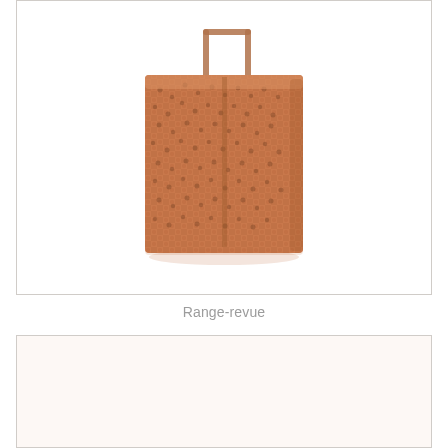[Figure (photo): A rectangular woven basket/magazine rack made of natural fiber with a wooden handle, photographed on a white background.]
Range-revue
[Figure (photo): Second product image box, mostly empty/white with a warm beige background tint.]